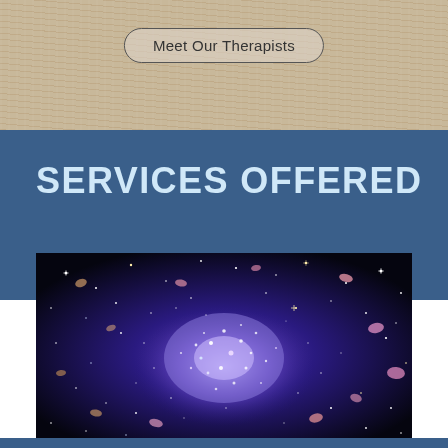Meet Our Therapists
SERVICES OFFERED
[Figure (photo): Space/galaxy image showing a star cluster with deep blue and purple nebula glow, scattered stars and galaxies against a dark background.]